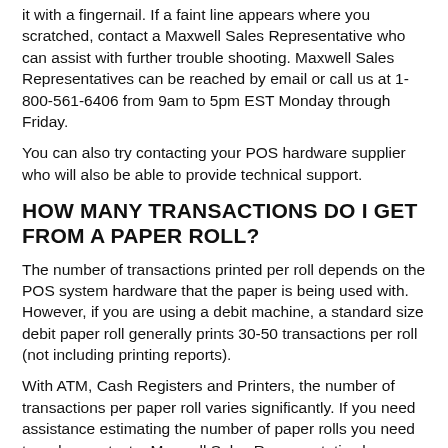it with a fingernail. If a faint line appears where you scratched, contact a Maxwell Sales Representative who can assist with further trouble shooting. Maxwell Sales Representatives can be reached by email or call us at 1-800-561-6406 from 9am to 5pm EST Monday through Friday.
You can also try contacting your POS hardware supplier who will also be able to provide technical support.
HOW MANY TRANSACTIONS DO I GET FROM A PAPER ROLL?
The number of transactions printed per roll depends on the POS system hardware that the paper is being used with. However, if you are using a debit machine, a standard size debit paper roll generally prints 30-50 transactions per roll (not including printing reports).
With ATM, Cash Registers and Printers, the number of transactions per paper roll varies significantly. If you need assistance estimating the number of paper rolls you need to order, contact a Maxwell Sales Representative by e-mail or call us at 1-800-561-6406 from 9am to 5pm EST